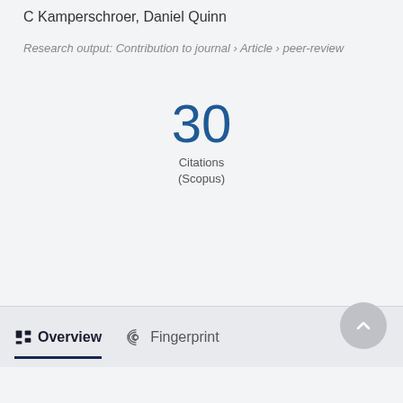C Kamperschroer, Daniel Quinn
Research output: Contribution to journal › Article › peer-review
30
Citations
(Scopus)
Overview
Fingerprint